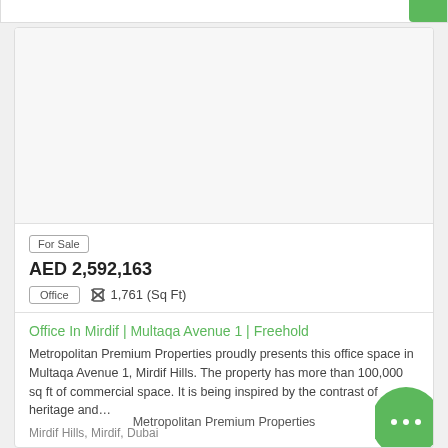[Figure (photo): Property listing card image area (blank/white placeholder) for an office in Mirdif Hills]
For Sale
AED 2,592,163
Office    ✗ 1,761 (Sq Ft)
Office In Mirdif | Multaqa Avenue 1 | Freehold
Metropolitan Premium Properties proudly presents this office space in Multaqa Avenue 1, Mirdif Hills. The property has more than 100,000 sq ft of commercial space. It is being inspired by the contrast of heritage and…
Mirdif Hills, Mirdif, Dubai
Metropolitan Premium Properties